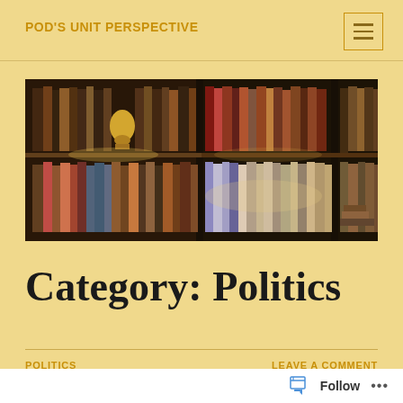POD'S UNIT PERSPECTIVE
[Figure (photo): Photograph of bookshelves filled with books of various colors and sizes, with a small bust statue visible in the background and dramatic lighting.]
Category: Politics
POLITICS   LEAVE A COMMENT
[Figure (other): WordPress bottom bar with Follow button and options dots]